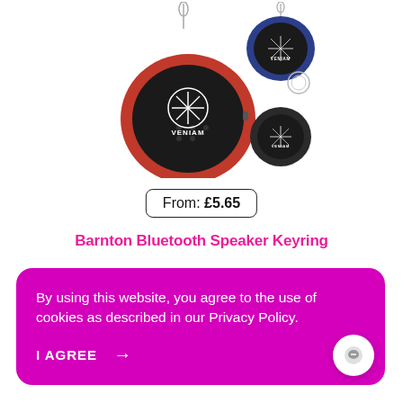[Figure (photo): Three circular Bluetooth speaker keyrings branded 'VENIAM' — one larger pink/red, one smaller blue, one smaller black — each with a keyring chain attached.]
From: £5.65
Barnton Bluetooth Speaker Keyring
By using this website, you agree to the use of cookies as described in our Privacy Policy.
I AGREE →